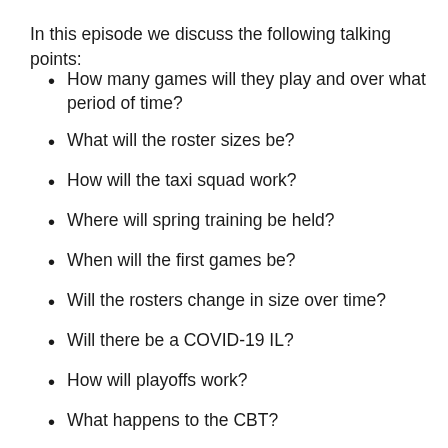In this episode we discuss the following talking points:
How many games will they play and over what period of time?
What will the roster sizes be?
How will the taxi squad work?
Where will spring training be held?
When will the first games be?
Will the rosters change in size over time?
Will there be a COVID-19 IL?
How will playoffs work?
What happens to the CBT?